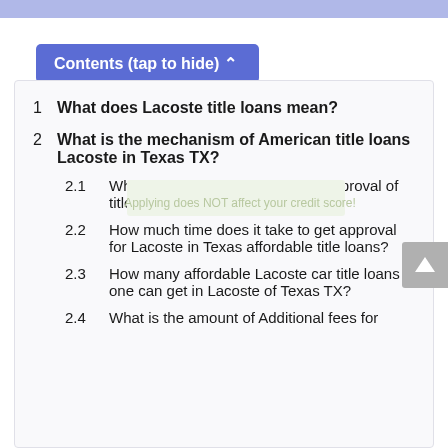Contents (tap to hide) ^
1  What does Lacoste title loans mean?
2  What is the mechanism of American title loans Lacoste in Texas TX?
2.1  What are the necessities for the approval of title loans in Lacoste of Texas?
2.2  How much time does it take to get approval for Lacoste in Texas affordable title loans?
2.3  How many affordable Lacoste car title loans one can get in Lacoste of Texas TX?
2.4  What is the amount of Additional fees for